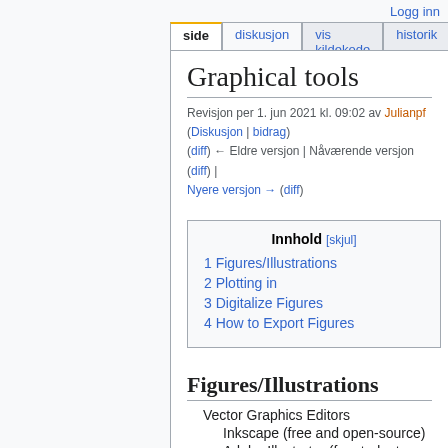Logg inn
side | diskusjon | vis kildekode | historik
Graphical tools
Revisjon per 1. jun 2021 kl. 09:02 av Julianpf (Diskusjon | bidrag) (diff) ← Eldre versjon | Nåværende versjon (diff) | Nyere versjon → (diff)
Figures/Illustrations
Vector Graphics Editors
Inkscape (free and open-source)
Adobe Illustrator (for students only through UiO programkiosk )
Directly in LaTeX (PGF/TikZ: https://github.com/pgf-tikz/pgf ; some examples )
Powerpoint, Keynote, Google draw fi...